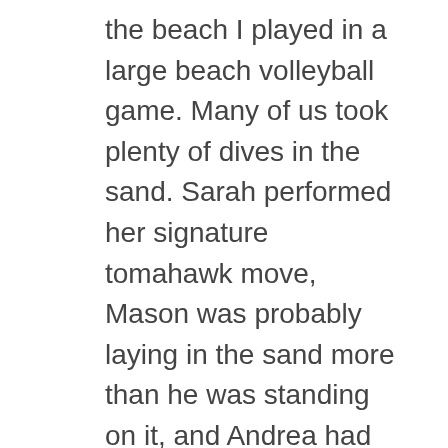the beach I played in a large beach volleyball game. Many of us took plenty of dives in the sand. Sarah performed her signature tomahawk move, Mason was probably laying in the sand more than he was standing on it, and Andrea had some awesome digs. It was Paul's, our DJ, 10th year and we surprised him with a cake. As teens we had some fun, and whenever someone came out and talked to us, we would immediately fall to the floor. Rug burns stopped our enjoyment. 🙁 I am still feeling them. In teen education Uncle Clarence showed us videos about Chinese